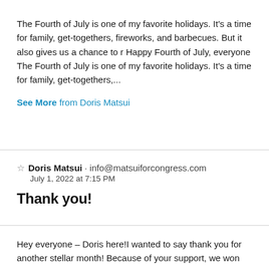The Fourth of July is one of my favorite holidays. It's a time for family, get-togethers, fireworks, and barbecues. But it also gives us a chance to r Happy Fourth of July, everyone The Fourth of July is one of my favorite holidays. It's a time for family, get-togethers,...
See More from Doris Matsui
☆ Doris Matsui · info@matsuiforcongress.com
July 1, 2022 at 7:15 PM
Thank you!
Hey everyone – Doris here!I wanted to say thank you for another stellar month! Because of your support, we won the Democratic Primary, and we get to move towards November with renewed